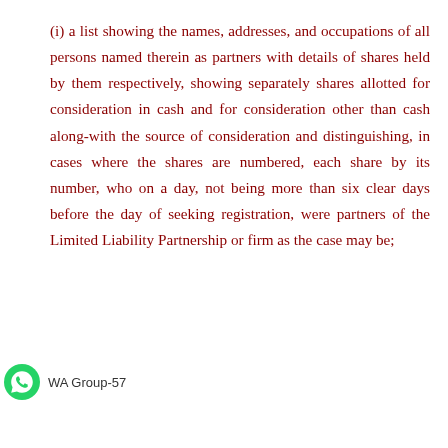(i) a list showing the names, addresses, and occupations of all persons named therein as partners with details of shares held by them respectively, showing separately shares allotted for consideration in cash and for consideration other than cash along-with the source of consideration and distinguishing, in cases where the shares are numbered, each share by its number, who on a day, not being more than six clear days before the day of seeking registration, were partners of the Limited Liability Partnership or firm as the case may be;